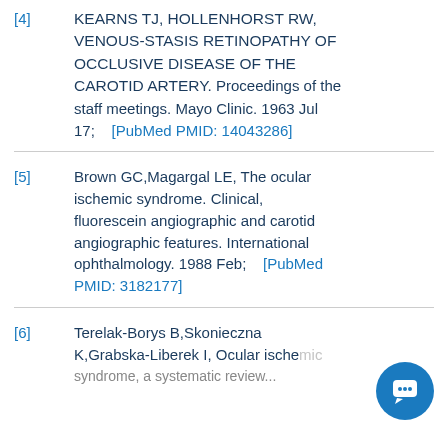[4] KEARNS TJ, HOLLENHORST RW, VENOUS-STASIS RETINOPATHY OF OCCLUSIVE DISEASE OF THE CAROTID ARTERY. Proceedings of the staff meetings. Mayo Clinic. 1963 Jul 17;    [PubMed PMID: 14043286]
[5] Brown GC,Magargal LE, The ocular ischemic syndrome. Clinical, fluorescein angiographic and carotid angiographic features. International ophthalmology. 1988 Feb;    [PubMed PMID: 3182177]
[6] Terelak-Borys B,Skonieczna K,Grabska-Liberek I, Ocular ischemic syndrome, a systematic review...